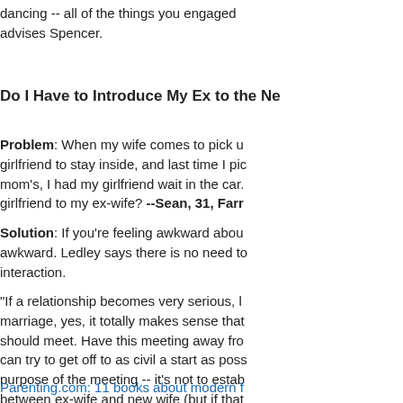dancing -- all of the things you engaged advises Spencer.
Do I Have to Introduce My Ex to the Ne
Problem: When my wife comes to pick u girlfriend to stay inside, and last time I pi mom's, I had my girlfriend wait in the car. girlfriend to my ex-wife? --Sean, 31, Farr
Solution: If you're feeling awkward abou awkward. Ledley says there is no need to interaction.
"If a relationship becomes very serious, l marriage, yes, it totally makes sense tha should meet. Have this meeting away fro can try to get off to as civil a start as pos purpose of the meeting -- it's not to estab between ex-wife and new wife (but if tha establish a cordial-enough relationship, s undue tension when everyone is together
Parenting.com: 11 books about modern f